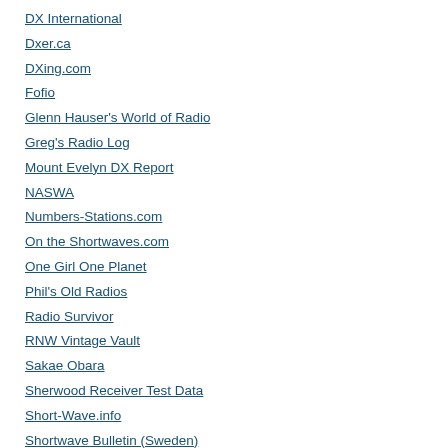DX International
Dxer.ca
DXing.com
Fofio
Glenn Hauser's World of Radio
Greg's Radio Log
Mount Evelyn DX Report
NASWA
Numbers-Stations.com
On the Shortwaves.com
One Girl One Planet
Phil's Old Radios
Radio Survivor
RNW Vintage Vault
Sakae Obara
Sherwood Receiver Test Data
Short-Wave.info
Shortwave Bulletin (Sweden)
Shortwave DX Blog